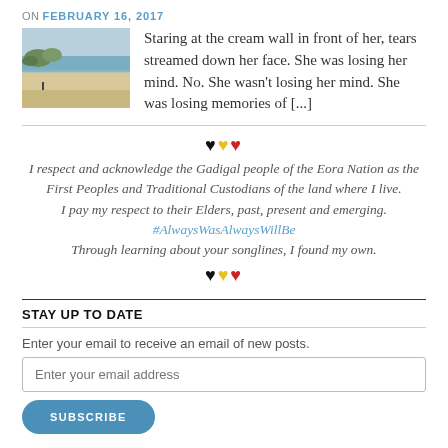ON FEBRUARY 16, 2017
Staring at the cream wall in front of her, tears streamed down her face. She was losing her mind. No. She wasn't losing her mind. She was losing memories of [...]
[Figure (photo): Beach scene with white sand, water, and vegetation in background]
🖤💛❤️
I respect and acknowledge the Gadigal people of the Eora Nation as the First Peoples and Traditional Custodians of the land where I live.
I pay my respect to their Elders, past, present and emerging.
#AlwaysWasAlwaysWillBe
Through learning about your songlines, I found my own.
🖤💛❤️
STAY UP TO DATE
Enter your email to receive an email of new posts.
Enter your email address
SUBSCRIBE